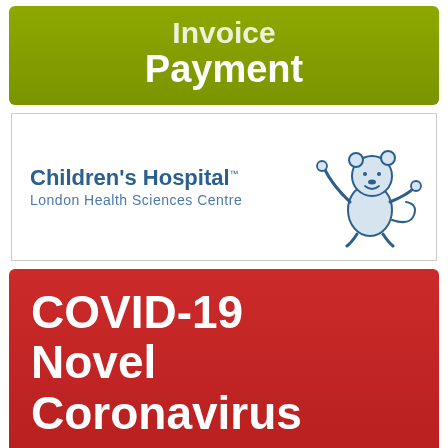Invoice Payment
[Figure (logo): Children's Hospital London Health Sciences Centre logo with a cartoon bear mascot]
COVID-19 Novel Coronavirus